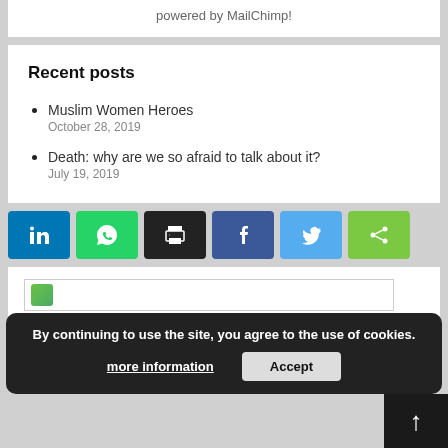powered by MailChimp!
Recent posts
Muslim Women Heroes
October 28, 2019
Death: why are we so afraid to talk about it?
July 19, 2019
[Figure (other): Social share buttons: LinkedIn, WhatsApp, Print, Facebook, Twitter, Share]
[Figure (other): Search input box with icon]
By continuing to use the site, you agree to the use of cookies.
more information    Accept